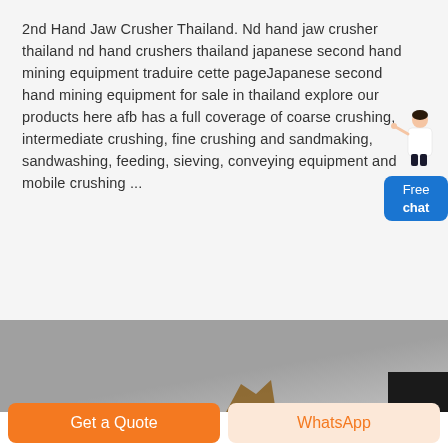2nd Hand Jaw Crusher Thailand. Nd hand jaw crusher thailand nd hand crushers thailand japanese second hand mining equipment traduire cette pageJapanese second hand mining equipment for sale in thailand explore our products here afb has a full coverage of coarse crushing, intermediate crushing, fine crushing and sandmaking, sandwashing, feeding, sieving, conveying equipment and mobile crushing ...
[Figure (infographic): Chat widget with a person illustration and a blue 'Free chat' button in the top right area]
[Figure (photo): Outdoor photo with grey sky background, partial view of rock or mining equipment at the bottom center, and a black rectangle at the bottom right]
Get a Quote
WhatsApp